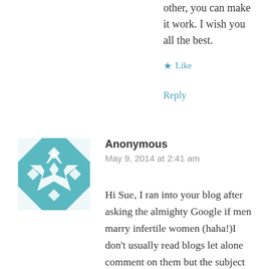other, you can make it work. I wish you all the best.
★ Like
Reply
[Figure (illustration): Teal and white geometric quilt-pattern avatar icon with star/diamond shapes]
Anonymous
May 9, 2014 at 2:41 am
Hi Sue, I ran into your blog after asking the almighty Google if men marry infertile women (haha!)I don't usually read blogs let alone comment on them but the subject and the stories folks have been sharing really struck me.I am 23 years old and after three years living with hot flashes and a vacant menstrual cycle I went to see a doctor. After